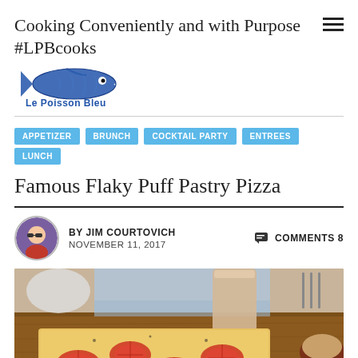Cooking Conveniently and with Purpose #LPBcooks
[Figure (logo): Le Poisson Bleu fish logo with text 'Le Poisson Bleu' beneath a blue illustrated fish]
APPETIZER
BRUNCH
COCKTAIL PARTY
ENTREES
LUNCH
Famous Flaky Puff Pastry Pizza
BY JIM COURTOVICH   NOVEMBER 11, 2017   COMMENTS 8
[Figure (photo): Photo of a puff pastry pizza topped with sliced tomatoes on a wooden cutting board, with a glass of beverage and a bowl of nuts in the background]